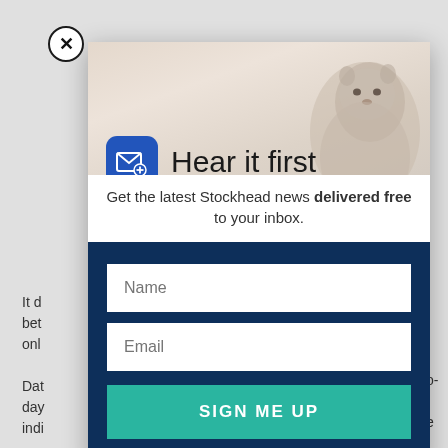[Figure (screenshot): Email newsletter signup modal overlay on a webpage. Modal has a header image with a groundhog/prairie dog animal photo, a blue email icon, title 'Hear it first', subtitle 'Get the latest Stockhead news delivered free to your inbox.', and a dark navy blue form section with Name input, Email input, and a teal 'SIGN ME UP' button. A close button (X) appears top-left outside the modal.]
It d
bet
onl
Dat
day
indi
"W
ver
Pat